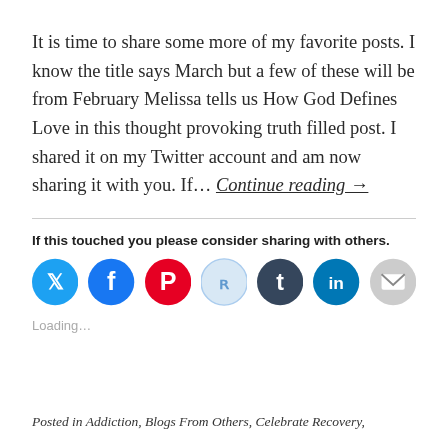It is time to share some more of my favorite posts. I know the title says March but a few of these will be from February Melissa tells us How God Defines Love in this thought provoking truth filled post. I shared it on my Twitter account and am now sharing it with you. If… Continue reading →
If this touched you please consider sharing with others.
[Figure (infographic): Row of social media sharing icons: Twitter (blue), Facebook (blue), Pinterest (red), Reddit (light blue/outline), Tumblr (dark navy), LinkedIn (dark blue), Email (gray)]
Loading...
Posted in Addiction, Blogs From Others, Celebrate Recovery,